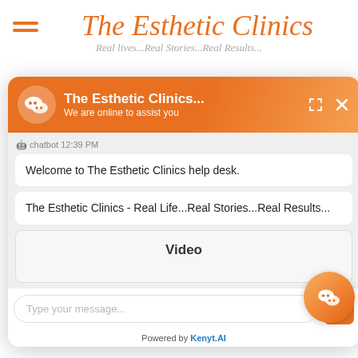The Esthetic Clinics — Real lives...Real Stories...Real Results...
[Figure (screenshot): WeChat-style chatbot widget overlay showing 'The Esthetic Clinics...' chat interface with messages: 'Welcome to The Esthetic Clinics help desk.' and 'The Esthetic Clinics - Real Life...Real Stories...Real Results...' and a Video placeholder, plus a message input bar and 'Powered by Kenyt.AI' footer.]
sive to be done tic hose – and e anterior in intention yps that are e middle es will be some hours y. Packing at m RE